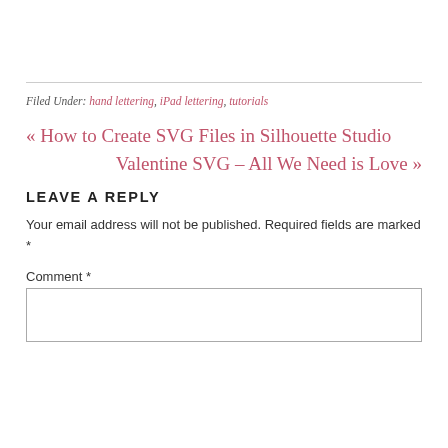Filed Under: hand lettering, iPad lettering, tutorials
« How to Create SVG Files in Silhouette Studio
Valentine SVG – All We Need is Love »
LEAVE A REPLY
Your email address will not be published. Required fields are marked *
Comment *